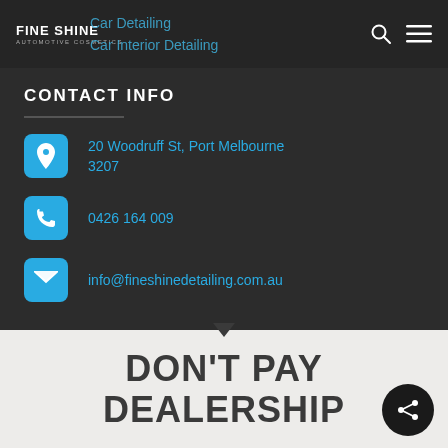FINE SHINE AUTOMOTIVE COSMETICS | Car Detailing | Car Interior Detailing
CONTACT INFO
20 Woodruff St, Port Melbourne 3207
0426 164 009
info@fineshinedetailing.com.au
DON'T PAY DEALERSHIP